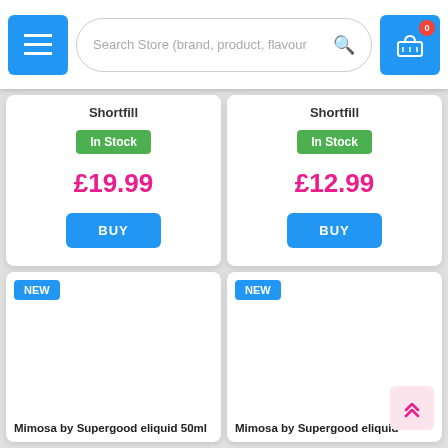Search Store (brand, product, flavour)
Shortfill
In Stock
£19.99
BUY
Shortfill
In Stock
£12.99
BUY
NEW
Mimosa by Supergood eliquid 50ml
NEW
Mimosa by Supergood eliquid